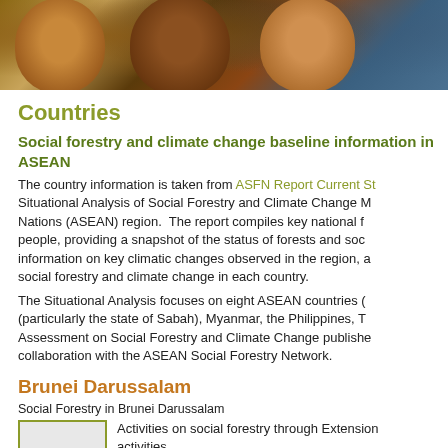[Figure (photo): Banner photo showing children's faces, used as decorative header image]
Countries
Social forestry and climate change baseline information in ASEAN
The country information is taken from ASFN Report Current St... Situational Analysis of Social Forestry and Climate Change M... Nations (ASEAN) region. The report compiles key national f... people, providing a snapshot of the status of forests and soc... information on key climatic changes observed in the region, a... social forestry and climate change in each country.
The Situational Analysis focuses on eight ASEAN countries (... (particularly the state of Sabah), Myanmar, the Philippines, T... Assessment on Social Forestry and Climate Change publishe... collaboration with the ASEAN Social Forestry Network.
Brunei Darussalam
Social Forestry in Brunei Darussalam
[Figure (photo): Small image box for Brunei Darussalam social forestry photo]
Activities on social forestry through Extension activities to generate awareness towards nature among the